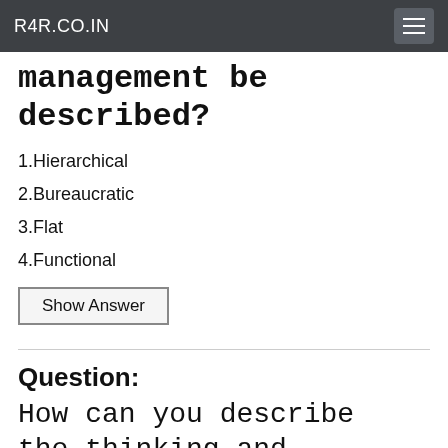R4R.CO.IN
management be described?
1.Hierarchical
2.Bureaucratic
3.Flat
4.Functional
Show Answer
Question: How can you describe the thinking and